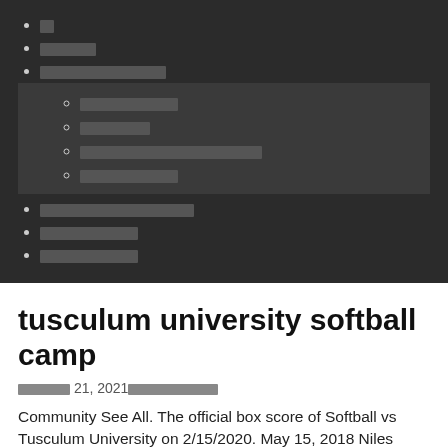[redacted]
[redacted]
[redacted]
[redacted sub-item 1]
[redacted sub-item 2]
[redacted sub-item 3]
[redacted sub-item 4]
[redacted]
[redacted]
[redacted]
tusculum university softball camp
[date] 21, 2021[redacted]
Community See All. The official box score of Softball vs Tusculum University on 2/15/2020. May 15, 2018 Niles Named to the D2CCA DII All-Region Second Team.